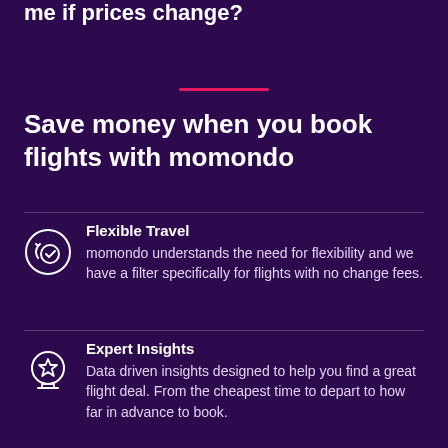me if prices change?
Save money when you book flights with momondo
Flexible Travel
momondo understands the need for flexibility and we have a filter specifically for flights with no change fees.
Expert Insights
Data driven insights designed to help you find a great flight deal. From the cheapest time to depart to how far in advance to book.